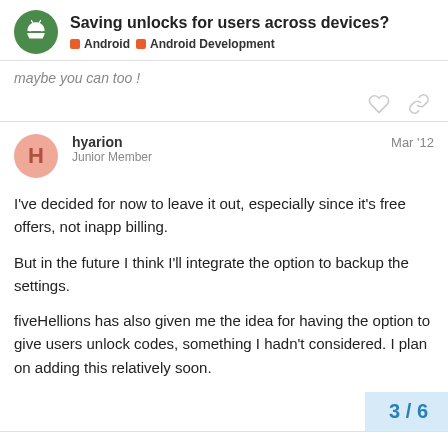Saving unlocks for users across devices? | Android | Android Development
maybe you can too !
hyarion  Mar '12
Junior Member
I've decided for now to leave it out, especially since it's free offers, not inapp billing.

But in the future I think I'll integrate the option to backup the settings.

fiveHellions has also given me the idea for having the option to give users unlock codes, something I hadn't considered. I plan on adding this relatively soon.
3 / 6